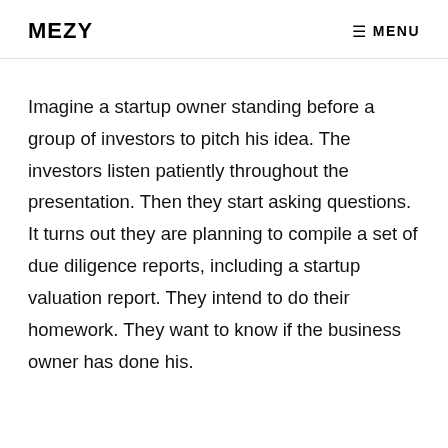MEZY   MENU
Imagine a startup owner standing before a group of investors to pitch his idea. The investors listen patiently throughout the presentation. Then they start asking questions. It turns out they are planning to compile a set of due diligence reports, including a startup valuation report. They intend to do their homework. They want to know if the business owner has done his.